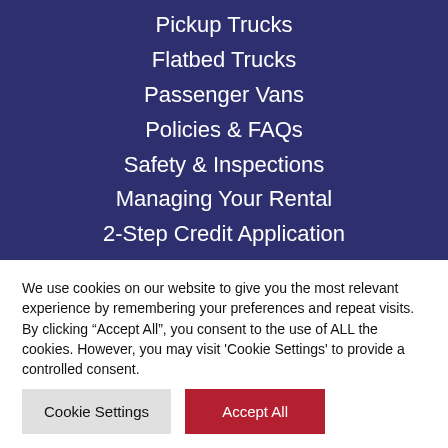Pickup Trucks
Flatbed Trucks
Passenger Vans
Policies & FAQs
Safety & Inspections
Managing Your Rental
2-Step Credit Application
We use cookies on our website to give you the most relevant experience by remembering your preferences and repeat visits. By clicking “Accept All”, you consent to the use of ALL the cookies. However, you may visit 'Cookie Settings' to provide a controlled consent.
Cookie Settings
Accept All